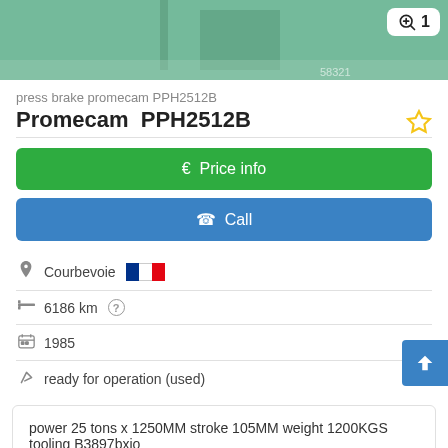[Figure (photo): Green industrial press brake machine, partial view, with image counter badge showing 1]
press brake promecam PPH2512B
Promecam  PPH2512B
€ Price info
✆ Call
Courbevoie [French flag]
6186 km
1985
ready for operation (used)
power 25 tons x 1250MM stroke 105MM weight 1200KGS tooling B3897bxio
Save search query